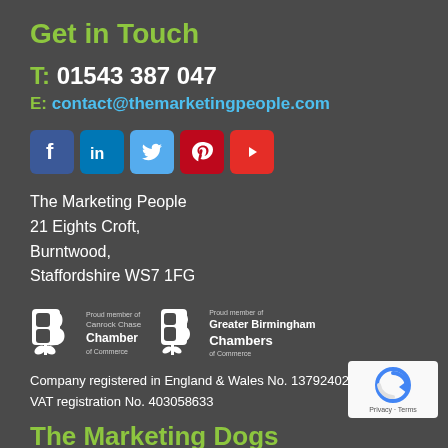Get in Touch
T: 01543 387 047
E: contact@themarketingpeople.com
[Figure (illustration): Social media icons row: Facebook, LinkedIn, Twitter, Pinterest, YouTube]
The Marketing People
21 Eights Croft,
Burntwood,
Staffordshire WS7 1FG
[Figure (logo): Canrock Chase Chamber of Commerce logo and Greater Birmingham Chambers of Commerce logo side by side]
Company registered in England & Wales No. 13792402
VAT registration No. 403058633
The Marketing Dogs
[Figure (other): Google reCAPTCHA badge with Privacy and Terms text]